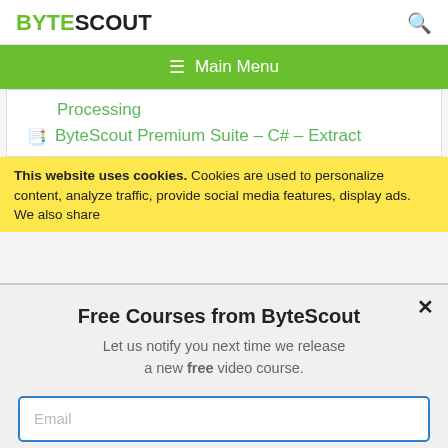BYTESCOUT
[Figure (screenshot): ByteScout website screenshot showing navigation and content links]
Processing
ByteScout Premium Suite – C# – Extract
This website uses cookies. Cookies are used to personalize content, analyze traffic, provide social media features, display ads. We also share
Free Courses from ByteScout
Let us notify you next time we release a new free video course.
SUBSCRIBE